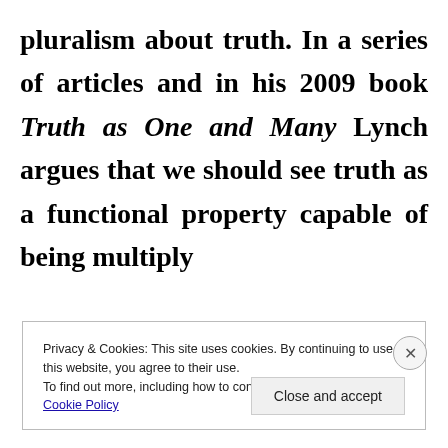pluralism about truth. In a series of articles and in his 2009 book Truth as One and Many Lynch argues that we should see truth as a functional property capable of being multiply
Privacy & Cookies: This site uses cookies. By continuing to use this website, you agree to their use. To find out more, including how to control cookies, see here: Cookie Policy